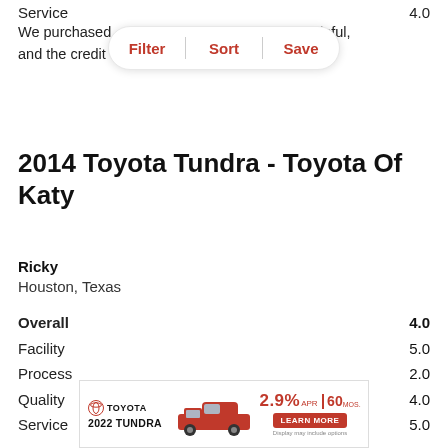Service  4.0
We purchased [Filter | Sort | Save] were helpful, and the credit de[partment was succe]ssful.
2014 Toyota Tundra - Toyota Of Katy
Ricky
Houston, Texas
| Overall | 4.0 |
| Facility | 5.0 |
| Process | 2.0 |
| Quality | 4.0 |
| Service | 5.0 |
[Figure (other): Toyota 2022 Tundra advertisement banner showing a red truck with 2.9% APR for 60 months offer and Learn More button]